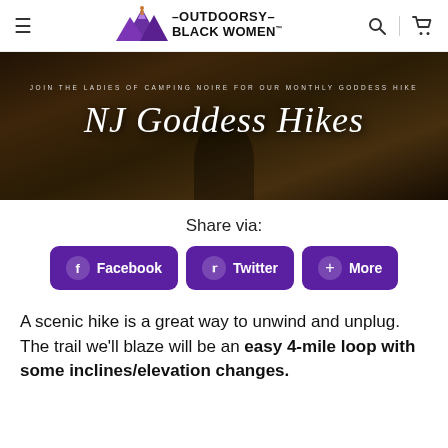Outdoorsy Black Women — navigation header with logo, hamburger menu, search and cart icons
[Figure (photo): Banner image with outdoor/nature background at dusk, text overlay reading 'JOIN THE LADIES OF CAMPING NOIRE FOR OUR MONTHLY GODDESS HIKE' and large cursive title 'NJ Goddess Hikes']
Share via:
Facebook
Twitter
More
A scenic hike is a great way to unwind and unplug. The trail we'll blaze will be an easy 4-mile loop with some inclines/elevation changes.